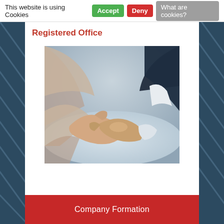This website is using Cookies  Accept  Deny  What are cookies?
Registered Office
[Figure (photo): Two people in business attire shaking hands at a desk, close-up view of the handshake]
Company Formation